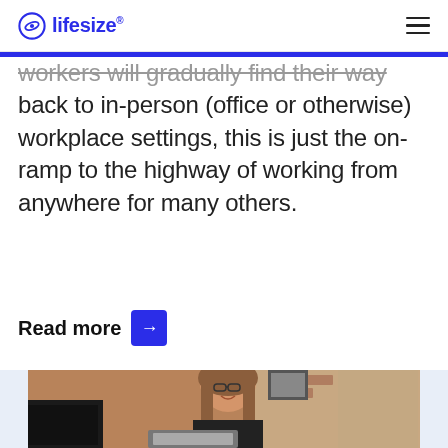lifesize
workers will gradually find their way back to in-person (office or otherwise) workplace settings, this is just the on-ramp to the highway of working from anywhere for many others.
Read more →
[Figure (photo): Woman with glasses and long brown hair smiling while working on a laptop in a cafe or workspace with brick wall background]